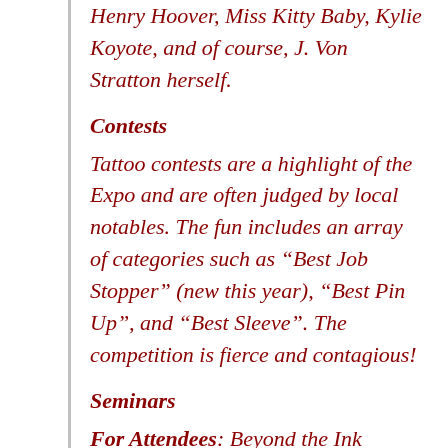Henry Hoover, Miss Kitty Baby, Kylie Koyote, and of course, J. Von Stratton herself.
Contests
Tattoo contests are a highlight of the Expo and are often judged by local notables. The fun includes an array of categories such as “Best Job Stopper” (new this year), “Best Pin Up”, and “Best Sleeve”. The competition is fierce and contagious!
Seminars
For Attendees: Beyond the Ink presents The Not So Secret Secrets of the Tattoo World